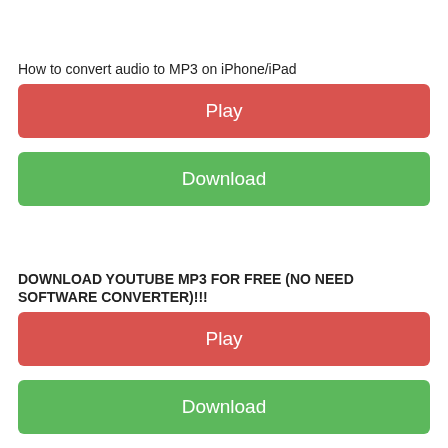How to convert audio to MP3 on iPhone/iPad
[Figure (screenshot): Red Play button]
[Figure (screenshot): Green Download button]
DOWNLOAD YOUTUBE MP3 FOR FREE (NO NEED SOFTWARE CONVERTER)!!!
[Figure (screenshot): Red Play button]
[Figure (screenshot): Green Download button]